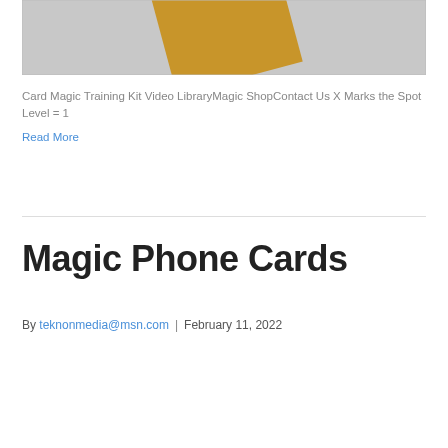[Figure (photo): Photo of a gold/yellow card or envelope on a white/grey background, partially cropped at the top of the page.]
Card Magic Training Kit Video LibraryMagic ShopContact Us X Marks the Spot Level = 1
Read More
Magic Phone Cards
By teknonmedia@msn.com | February 11, 2022